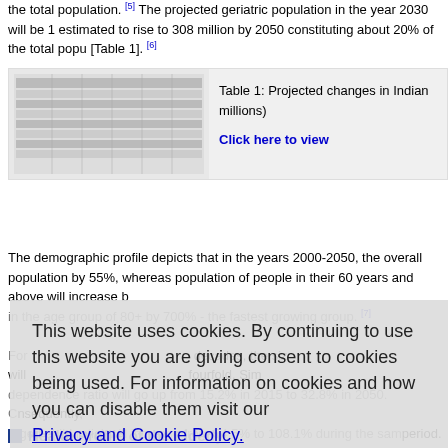the total population. [5] The projected geriatric population in the year 2030 will be 1 estimated to rise to 308 million by 2050 constituting about 20% of the total popu [Table 1]. [6]
[Figure (table-as-image): Thumbnail image of Table 1 showing projected changes in Indian population (millions)]
Table 1: Projected changes in Indian millions)
Click here to view
The demographic profile depicts that in the years 2000-2050, the overall population by 55%, whereas population of people in their 60 years and above will increase b in the age group of 80+ by 700% - the fastest growing group. [7]
For decades, the size will be fourfold. Si dependence ratio will go up from 15.2% in 2015 to 32.8% in 2050. Consequently, (aged-child ratio) will increase from 54.5% to 108.1% during the same period. The working Indians will take care of the elderly person by 2050 as compared to working Indians at present. It has been estimated that an Indian 60 years of age to survive another 15 years. Hence, adequate savings are required to sustain an indi postretirement peri
This website uses cookies. By continuing to use this website you are giving consent to cookies being used. For information on cookies and how you can disable them visit our Privacy and Cookie Policy.
AGREE & PROCEED
Health Profile of the Elderly